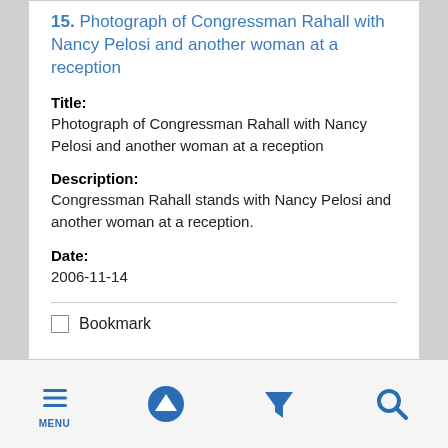15. Photograph of Congressman Rahall with Nancy Pelosi and another woman at a reception
Title:
Photograph of Congressman Rahall with Nancy Pelosi and another woman at a reception
Description:
Congressman Rahall stands with Nancy Pelosi and another woman at a reception.
Date:
2006-11-14
Bookmark